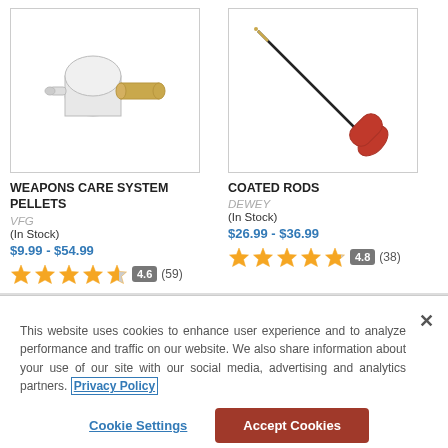[Figure (photo): Weapons care system pellets cleaning tool - white cylindrical body with brass tip]
WEAPONS CARE SYSTEM PELLETS
VFG
(In Stock)
$9.99 - $54.99
4.6 (59)
[Figure (photo): Coated rod - long thin black rod with red handle]
COATED RODS
DEWEY
(In Stock)
$26.99 - $36.99
4.8 (38)
This website uses cookies to enhance user experience and to analyze performance and traffic on our website. We also share information about your use of our site with our social media, advertising and analytics partners. Privacy Policy
Cookie Settings
Accept Cookies